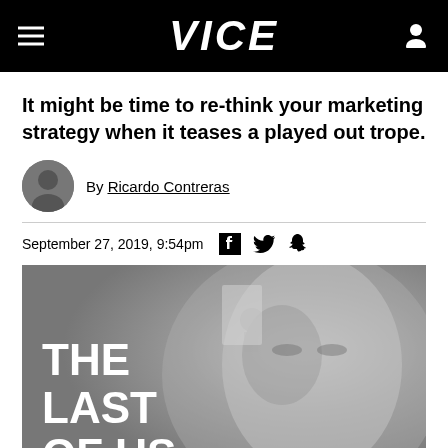VICE
It might be time to re-think your marketing strategy when it teases a played out trope.
By Ricardo Contreras
September 27, 2019, 9:54pm
[Figure (photo): Promotional image for The Last of Us Part II showing a close-up of a character's face in grayscale with the game title overlay in white text]